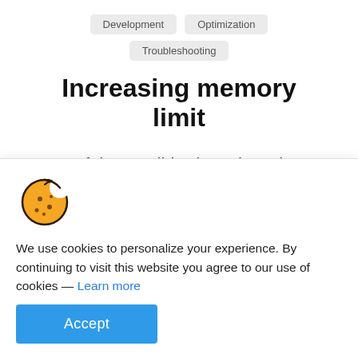Development
Optimization
Troubleshooting
Increasing memory limit
Most of the small-budget shared hosting servers have a meager and limited amount of memory allocated to PHP which can cause a white screen of death or other types
[Figure (illustration): Cookie emoji illustration — a round golden-yellow cookie with a bite taken out of the upper right, with chocolate chip dots and a dark outline.]
We use cookies to personalize your experience. By continuing to visit this website you agree to our use of cookies — Learn more
Accept